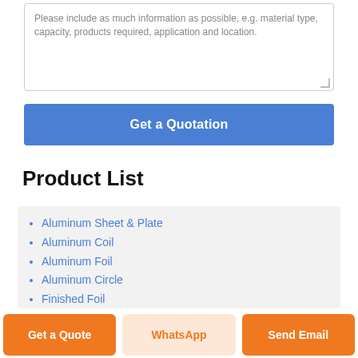Please include as much information as possible, e.g. material type, capacity, products required, application and location.
Get a Quotation
Product List
Aluminum Sheet & Plate
Aluminum Coil
Aluminum Foil
Aluminum Circle
Finished Foil
Aluminum Slug
Get a Quote  WhatsApp  Send Email